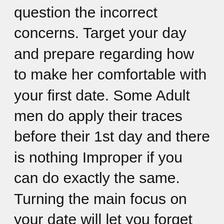question the incorrect concerns. Target your day and prepare regarding how to make her comfortable with your first date. Some Adult men do apply their traces before their 1st day and there is nothing Improper if you can do exactly the same. Turning the main focus on your date will let you forget your nervousness and you will inevitably grow to be additional at ease.
To create a far more pleasing very first day, prevent Friday night date to stay away from the tension. Keep the date small to be a lot more considerate of each other. In case you or your day cannot sense any connection, maintaining the day small will save you the two with the awkwardness. Holding the date brief doesn't